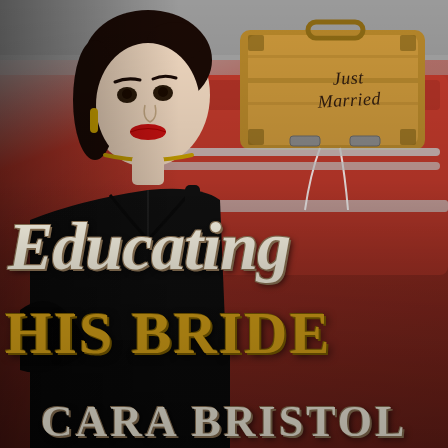[Figure (illustration): Book cover for 'Educating His Bride' by Cara Bristol. A dark-haired woman in a black dress stands in front of a red vintage car. On the car trunk sits a vintage brown suitcase with 'Just Married' written on it in cursive. The cover features large decorative title text 'Educating His Bride' and the author name 'Cara Bristol' at the bottom.]
Educating His Bride
Just Married
Cara Bristol